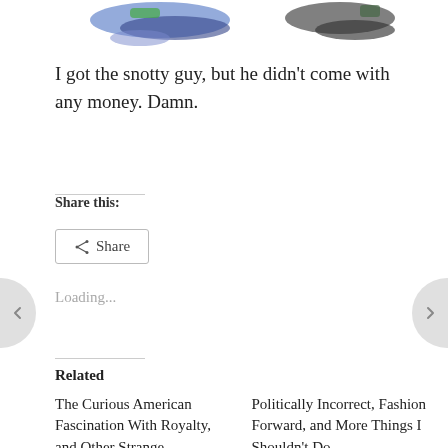[Figure (photo): Partial view of shoe images at top of page, cropped — showing colorful shoes on left and dark shoes on right]
I got the snotty guy, but he didn't come with any money. Damn.
Share this:
Loading...
Related
The Curious American Fascination With Royalty, and Other Strange Vestigialities
Politically Incorrect, Fashion Forward, and More Things I Shouldn't Do